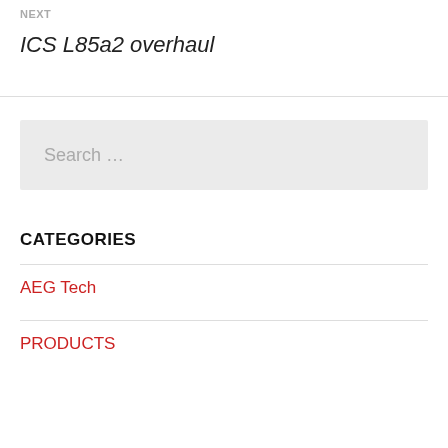NEXT
ICS L85a2 overhaul
Search …
CATEGORIES
AEG Tech
PRODUCTS